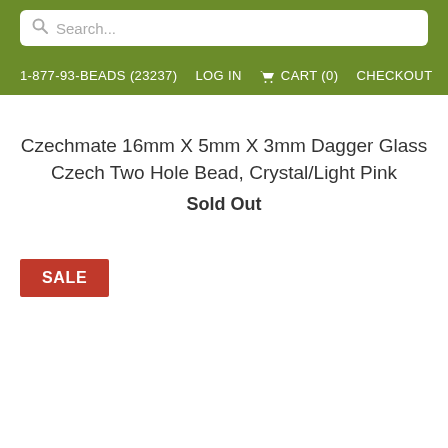Search...
1-877-93-BEADS (23237)  LOG IN  CART (0)  CHECKOUT
Czechmate 16mm X 5mm X 3mm Dagger Glass Czech Two Hole Bead, Crystal/Light Pink
Sold Out
SALE